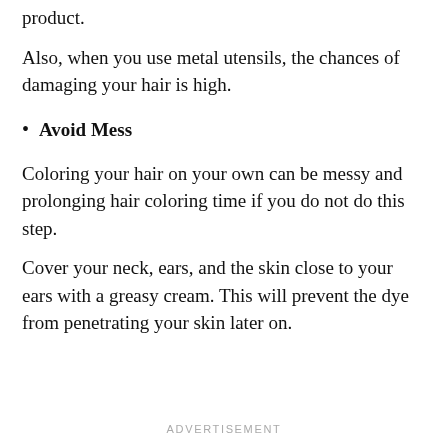product.
Also, when you use metal utensils, the chances of damaging your hair is high.
Avoid Mess
Coloring your hair on your own can be messy and prolonging hair coloring time if you do not do this step.
Cover your neck, ears, and the skin close to your ears with a greasy cream. This will prevent the dye from penetrating your skin later on.
ADVERTISEMENT